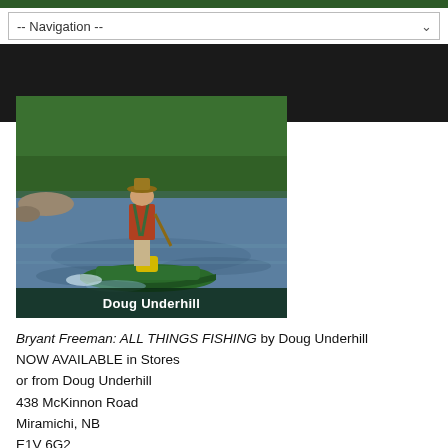-- Navigation --
[Figure (photo): A person standing in a green canoe on a river, holding a pole, with green trees and rocky riverbank in background. Caption overlay reads 'Doug Underhill'.]
Bryant Freeman: ALL THINGS FISHING by Doug Underhill NOW AVAILABLE in Stores or from Doug Underhill 438 McKinnon Road Miramichi, NB E1V 6G2 or Bryant Freeman 1-506-386-6269